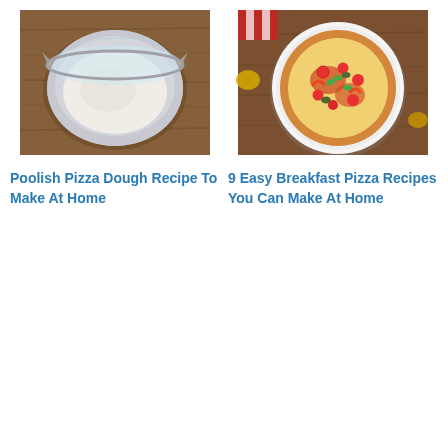[Figure (photo): Bowl of pizza dough covered in plastic wrap on a wooden surface]
[Figure (photo): Overhead view of a colorful breakfast pizza in a white bowl with toppings including cherry tomatoes, peppers, and cheese on a wooden table]
Poolish Pizza Dough Recipe To Make At Home
9 Easy Breakfast Pizza Recipes You Can Make At Home